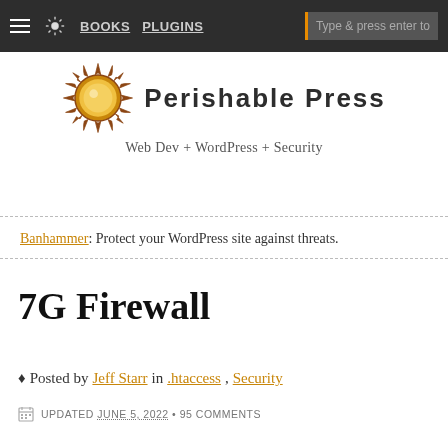BOOKS  PLUGINS  Type & press enter to
[Figure (logo): Perishable Press logo: sun illustration with bold text 'Perishable Press' and tagline 'Web Dev + WordPress + Security']
Banhammer: Protect your WordPress site against threats.
7G Firewall
♦ Posted by Jeff Starr in .htaccess, Security
UPDATED JUNE 5, 2022 • 95 COMMENTS